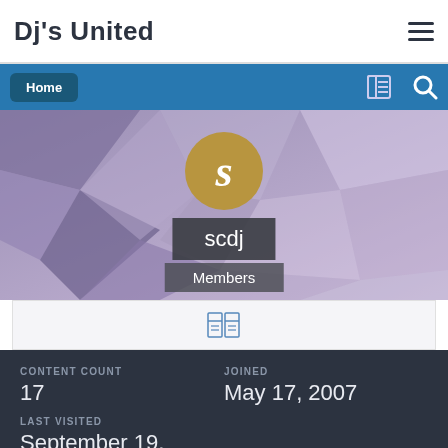Dj's United
Home
[Figure (screenshot): Profile banner with geometric purple/lavender polygon background pattern, gold avatar circle with letter S, username box 'scdj', role box 'Members']
CONTENT COUNT
17
JOINED
May 17, 2007
LAST VISITED
September 19, 2008